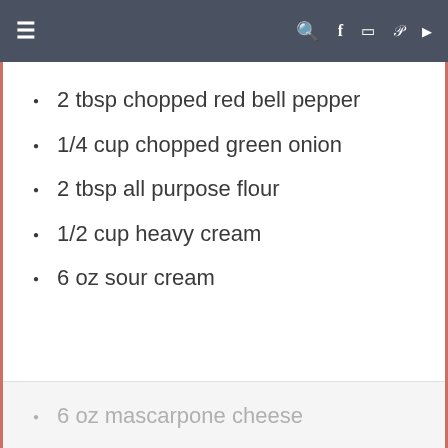≡  🔍 f 🎥 p ▶
2 tbsp chopped red bell pepper
1/4 cup chopped green onion
2 tbsp all purpose flour
1/2 cup heavy cream
6 oz sour cream
6 oz mascarpone cheese